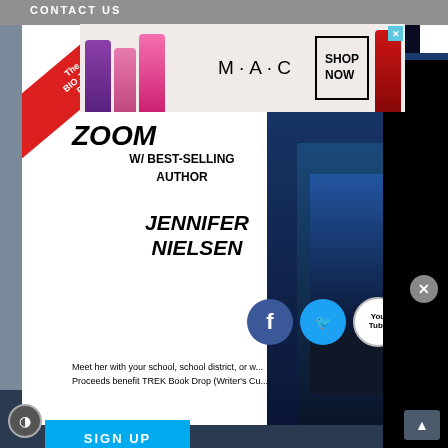[Figure (screenshot): Website screenshot showing overlapping ads and promotional content. Top area has a gray navigation bar with 'CONTACT US' text. An MAC cosmetics ad shows lipsticks with 'SHOP NOW' button. A Jennifer Nielsen author zoom promotion shows 'ZOOM W/ BEST-SELLING AUTHOR JENNIFER NIELSEN' with Facebook, Twitter, YouTube social icons and text 'Meet her with your school, school district, or w... Proceeds benefit TREK Book Drop (Writer's Cu...' The Courage book cover is visible on the right in blue tones. A 'SIGN UP' cyan button appears. Bottom section has dark navy background with 'SEARCH THE SITE' text, a 'CLOSE' gray button, and a Macy's ad at the bottom reading 'KISS BORING LIPS GOODBYE' with 'SHOP NOW' and Macy's star logo.]